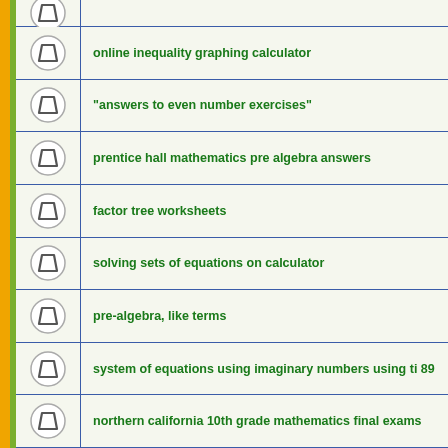(partial row cut off)
online inequality graphing calculator
"answers to even number exercises"
prentice hall mathematics pre algebra answers
factor tree worksheets
solving sets of equations on calculator
pre-algebra, like terms
system of equations using imaginary numbers using ti 89
northern california 10th grade mathematics final exams